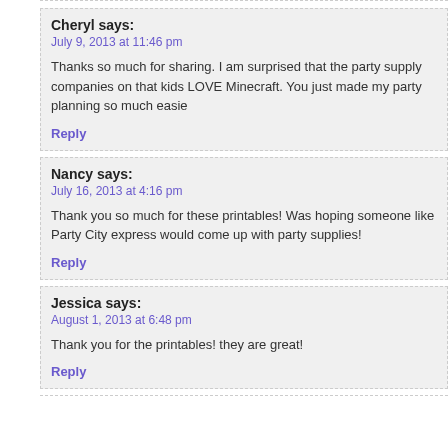Cheryl says:
July 9, 2013 at 11:46 pm
Thanks so much for sharing. I am surprised that the party supply companies on that kids LOVE Minecraft. You just made my party planning so much easie
Reply
Nancy says:
July 16, 2013 at 4:16 pm
Thank you so much for these printables! Was hoping someone like Party City express would come up with party supplies!
Reply
Jessica says:
August 1, 2013 at 6:48 pm
Thank you for the printables! they are great!
Reply